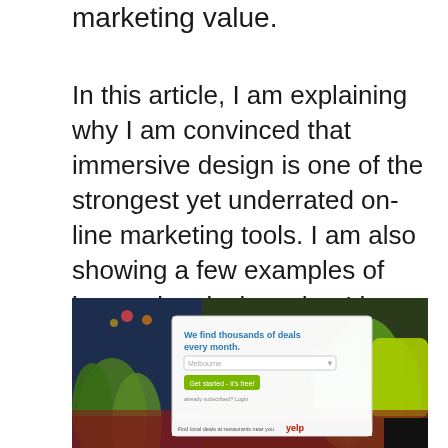marketing value.
In this article, I am explaining why I am convinced that immersive design is one of the strongest yet underrated on-line marketing tools. I am also showing a few examples of immersive designs that I have been collecting while surfing the Internet.
[Figure (screenshot): Screenshot of a website interface showing 'We find thousands of deals every month.' with a form field, a green 'Get started - it's free!' button, and a Yelp logo, overlaid on a blurred restaurant/bar background with green plants and glassware.]